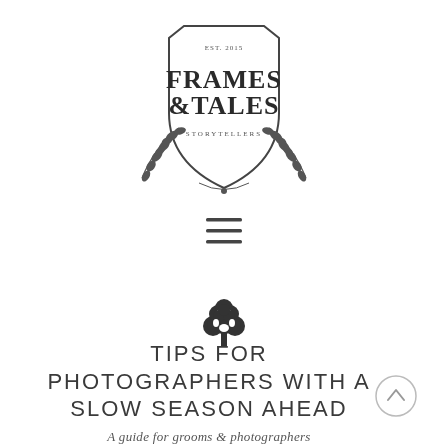[Figure (logo): Frames & Tales Storytellers shield logo with laurel wreath decoration, established 2015]
[Figure (other): Hamburger menu icon (three horizontal lines)]
[Figure (illustration): Small decorative tree illustration]
TIPS FOR PHOTOGRAPHERS WITH A SLOW SEASON AHEAD
A guide for grooms & photographers